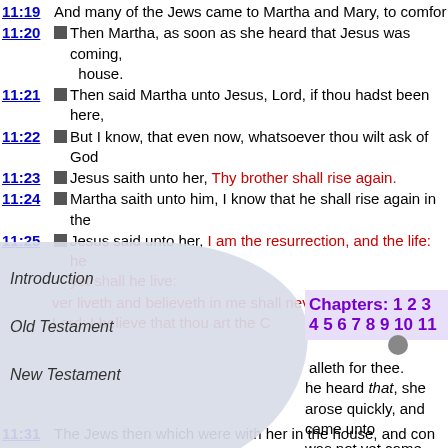11:19 And many of the Jews came to Martha and Mary, to comfort
11:20 Then Martha, as soon as she heard that Jesus was coming, house.
11:21 Then said Martha unto Jesus, Lord, if thou hadst been here,
11:22 But I know, that even now, whatsoever thou wilt ask of God
11:23 Jesus saith unto her, Thy brother shall rise again.
11:24 Martha saith unto him, I know that he shall rise again in the
11:25 Jesus said unto her, I am the resurrection, and the life: he yet shall he live:
ever liveth and believeth in me shall never die. him. Yea, Lord: I believe that thou art the C
Introduction
Old Testament
New Testament
Chapters: 1 2 3 4 5 6 7 8 9 10 11
alleth for thee. he heard that, she arose quickly, and came unto was not yet come into the town, but was in that
11:31 The Jews then which were with her in the house, and con rose up hastily and went out, followed her, saying, She goet
11:32 Then when Mary was come where Jesus was, and saw him Lord, if thou hadst been here, my brother had not died.
11:33 When Jesus therefore saw her weeping, and the Jews also in the spirit, and was troubled,
11:34 And said, Where have ye laid him? They said unto him, Lo
11:35